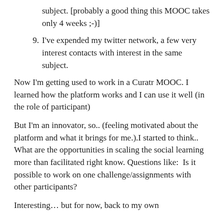subject. [probably a good thing this MOOC takes only 4 weeks ;-)]
9. I've expended my twitter network, a few very interest contacts with interest in the same subject.
Now I'm getting used to work in a Curatr MOOC. I learned how the platform works and I can use it well (in the role of participant)
But I'm an innovator, so.. (feeling motivated about the platform and what it brings for me.).I started to think.. What are the opportunities in scaling the social learning more than facilitated right know. Questions like:  Is it possible to work on one challenge/assignments with other participants?
Interesting… but for now, back to my own